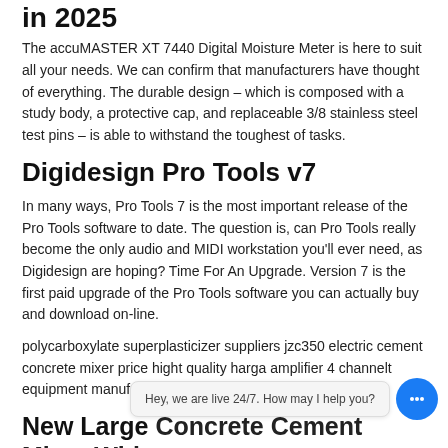in 2025
The accuMASTER XT 7440 Digital Moisture Meter is here to suit all your needs. We can confirm that manufacturers have thought of everything. The durable design – which is composed with a study body, a protective cap, and replaceable 3/8 stainless steel test pins – is able to withstand the toughest of tasks.
Digidesign Pro Tools v7
In many ways, Pro Tools 7 is the most important release of the Pro Tools software to date. The question is, can Pro Tools really become the only audio and MIDI workstation you'll ever need, as Digidesign are hoping? Time For An Upgrade. Version 7 is the first paid upgrade of the Pro Tools software you can actually buy and download on-line.
polycarboxylate superplasticizer suppliers jzc350 electric cement concrete mixer price hight quality harga amplifier 4 channelt equipment manufacturers in camran
New Large Concrete Cement Mixer With
Hey, we are live 24/7. How may I help you?